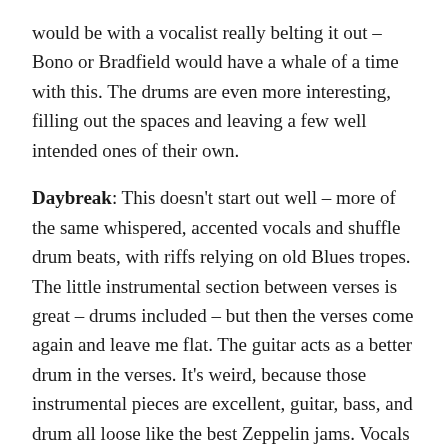would be with a vocalist really belting it out – Bono or Bradfield would have a whale of a time with this. The drums are even more interesting, filling out the spaces and leaving a few well intended ones of their own.
Daybreak: This doesn't start out well – more of the same whispered, accented vocals and shuffle drum beats, with riffs relying on old Blues tropes. The little instrumental section between verses is great – drums included – but then the verses come again and leave me flat. The guitar acts as a better drum in the verses. It's weird, because those instrumental pieces are excellent, guitar, bass, and drum all loose like the best Zeppelin jams. Vocals in the middle are a little better. It closes out with an organ of all things and a big guitar and drum sped up jamming session which is good fun. A song of highs and lows.